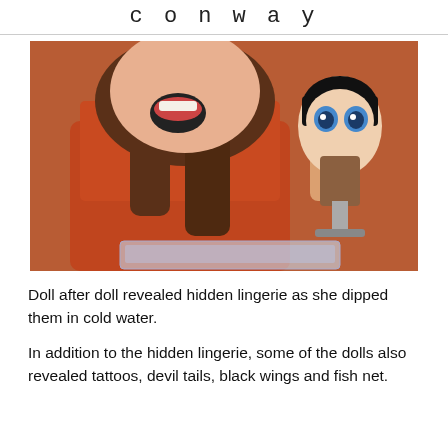c o n w a y
[Figure (photo): A woman in a red top with her mouth open holding a LOL Surprise doll that appears to be revealing hidden clothing after being dipped in water. The doll is shown with dark hair and large eyes, positioned on a metallic stand above a clear plastic container of water.]
Doll after doll revealed hidden lingerie as she dipped them in cold water.
In addition to the hidden lingerie, some of the dolls also revealed tattoos, devil tails, black wings and fish net.